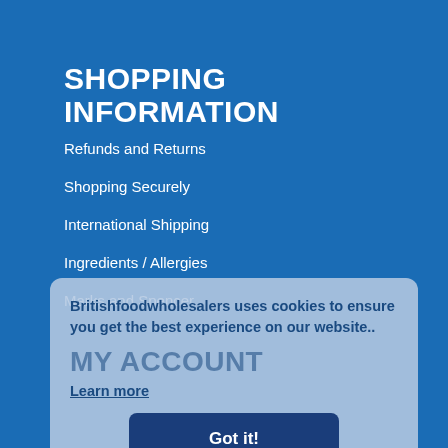SHOPPING INFORMATION
Refunds and Returns
Shopping Securely
International Shipping
Ingredients / Allergies
Marks and Spencer
Britishfoodwholesalers uses cookies to ensure you get the best experience on our website..
Learn more
Got it!
MY ACCOUNT
My Account
View Trolley